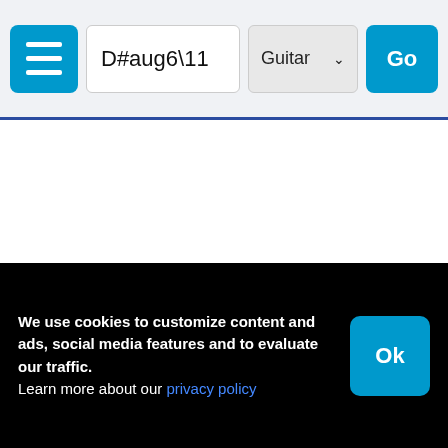D#aug6\11  Guitar  Go
D#aug6/11 Guitar Chord Charts
We use cookies to customize content and ads, social media features and to evaluate our traffic. Learn more about our privacy policy